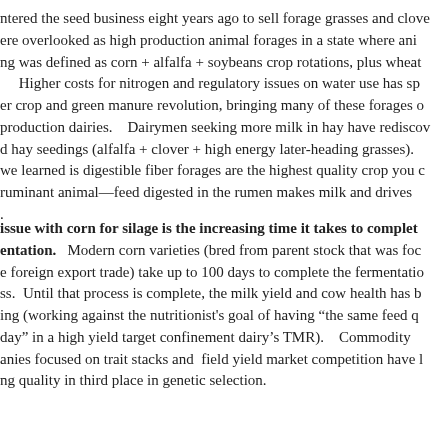ntered the seed business eight years ago to sell forage grasses and clover that were overlooked as high production animal forages in a state where animal farming was defined as corn + alfalfa + soybeans crop rotations, plus wheat. Higher costs for nitrogen and regulatory issues on water use has spurred a cover crop and green manure revolution, bringing many of these forages onto high production dairies. Dairymen seeking more milk in hay have rediscovered mixed hay seedings (alfalfa + clover + high energy later-heading grasses). What we learned is digestible fiber forages are the highest quality crop you can grow for a ruminant animal—feed digested in the rumen makes milk and drives growth.
A major issue with corn for silage is the increasing time it takes to complete fermentation. Modern corn varieties (bred from parent stock that was focused on foreign export trade) take up to 100 days to complete the fermentation process. Until that process is complete, the milk yield and cow health has been declining (working against the nutritionist's goal of having "the same feed quality every day" in a high yield target confinement dairy's TMR). Commodity companies focused on trait stacks and field yield market competition have left silage quality in third place in genetic selection.